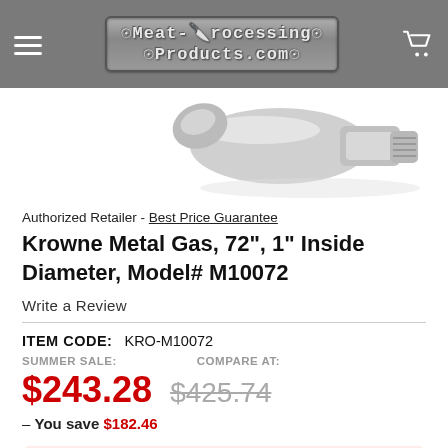Meat-Processing Products.com
[Figure (photo): Partial view of a chrome/silver gas hose fitting connector against white background]
Authorized Retailer - Best Price Guarantee
Krowne Metal Gas, 72", 1" Inside Diameter, Model# M10072
Write a Review
ITEM CODE: KRO-M10072
SUMMER SALE: $243.28  COMPARE AT: $425.74
— You save $182.46
Out of Stock